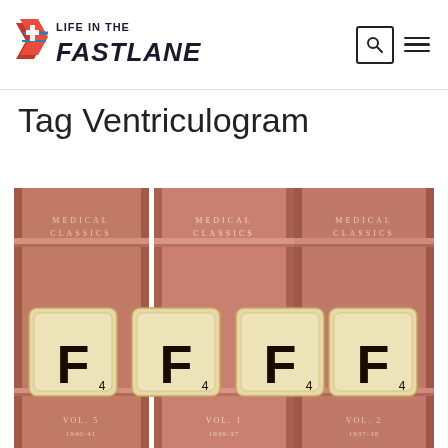Life in the Fast Lane
Tag Ventriculogram
[Figure (photo): Photo of three red/terracotta medical classics books (VOL. 5 1940-41, VOL. 1 1936-37, VOL. 2 1937-38) with four Scrabble tiles showing the letter F with a score of 4 placed in front of them, arranged side by side.]